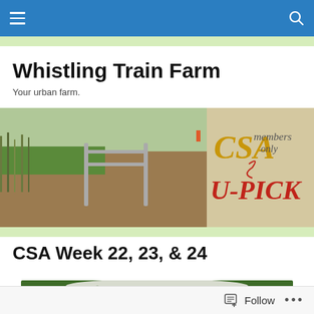Whistling Train Farm — navigation bar
Whistling Train Farm
Your urban farm.
[Figure (photo): Farm field with a metal gate in the foreground and a CSA members only U-PICK sign on the right side]
CSA Week 22, 23, & 24
[Figure (photo): Basket of fresh vegetables including leafy greens and other produce]
Follow   ...